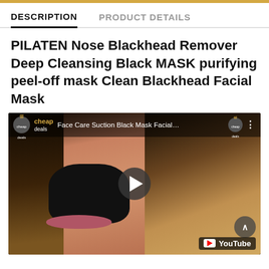DESCRIPTION | PRODUCT DETAILS
PILATEN Nose Blackhead Remover Deep Cleansing Black MASK purifying peel-off mask Clean Blackhead Facial Mask
[Figure (screenshot): YouTube video thumbnail showing a woman applying a black peel-off mask to her nose. Channel is 'gj cheap deals'. Video title: 'Face Care Suction Black Mask Facial...' with YouTube logo and play button visible.]